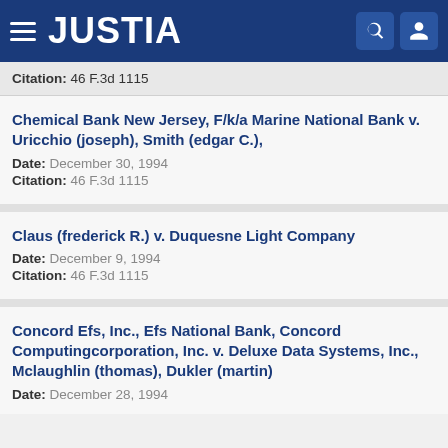JUSTIA
Citation: 46 F.3d 1115
Chemical Bank New Jersey, F/k/a Marine National Bank v. Uricchio (joseph), Smith (edgar C.),
Date: December 30, 1994
Citation: 46 F.3d 1115
Claus (frederick R.) v. Duquesne Light Company
Date: December 9, 1994
Citation: 46 F.3d 1115
Concord Efs, Inc., Efs National Bank, Concord Computingcorporation, Inc. v. Deluxe Data Systems, Inc., Mclaughlin (thomas), Dukler (martin)
Date: December 28, 1994